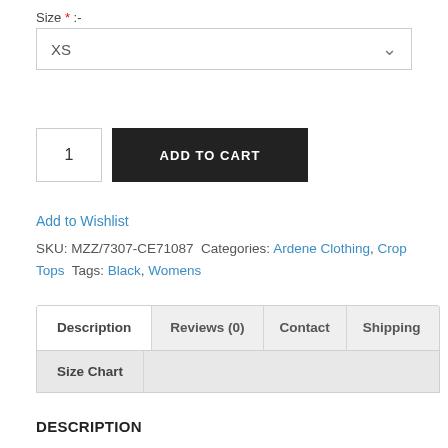Size * :-
[Figure (screenshot): Dropdown select box showing 'XS' with a chevron arrow on the right]
[Figure (screenshot): Quantity input field showing '1' and a black 'ADD TO CART' button]
Add to Wishlist
SKU: MZZ/7307-CE71087 Categories: Ardene Clothing, Crop Tops Tags: Black, Womens
[Figure (screenshot): Tab navigation with tabs: Description (active), Reviews (0), Contact, Shipping, and Size Chart]
DESCRIPTION